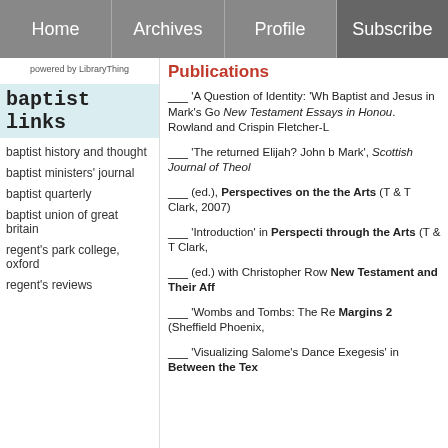Home | Archives | Profile | Subscribe
powered by LibraryThing
baptist links
baptist history and thought
baptist ministers' journal
baptist quarterly
baptist union of great britain
regent's park college, oxford
regent's reviews
Publications
__ 'A Question of Identity: 'Wh Baptist and Jesus in Mark's Go New Testament Essays in Honou. Rowland and Crispin Fletcher-L
__ 'The returned Elijah? John b Mark', Scottish Journal of Theol
__ (ed.), Perspectives on the the Arts (T & T Clark, 2007)
__ 'Introduction' in Perspecti through the Arts (T & T Clark,
__ (ed.) with Christopher Row New Testament and Their Aff
__ 'Wombs and Tombs: The Re Margins 2 (Sheffield Phoenix,
__ 'Visualizing Salome's Dance Exegesis' in Between the Tex